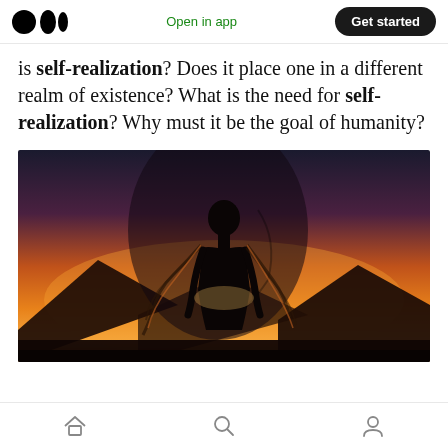Open in app | Get started
is self-realization? Does it place one in a different realm of existence? What is the need for self-realization? Why must it be the goal of humanity?
[Figure (photo): Double exposure artistic photo of a woman's silhouette standing against a vibrant orange and red sunset sky with mountains, overlaid with a large face profile silhouette in the background.]
Home | Search | Profile